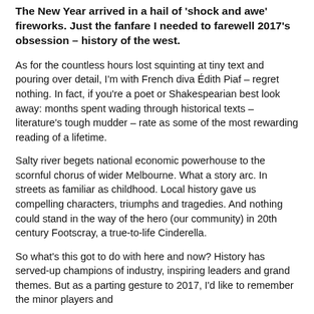The New Year arrived in a hail of 'shock and awe' fireworks. Just the fanfare I needed to farewell 2017's obsession – history of the west.
As for the countless hours lost squinting at tiny text and pouring over detail, I'm with French diva Édith Piaf – regret nothing. In fact, if you're a poet or Shakespearian best look away: months spent wading through historical texts – literature's tough mudder – rate as some of the most rewarding reading of a lifetime.
Salty river begets national economic powerhouse to the scornful chorus of wider Melbourne. What a story arc. In streets as familiar as childhood. Local history gave us compelling characters, triumphs and tragedies. And nothing could stand in the way of the hero (our community) in 20th century Footscray, a true-to-life Cinderella.
So what's this got to do with here and now? History has served-up champions of industry, inspiring leaders and grand themes. But as a parting gesture to 2017, I'd like to remember the minor players and